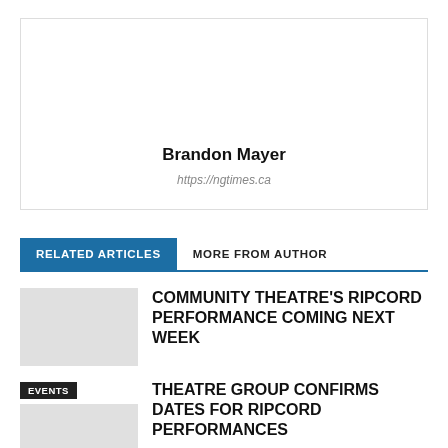Brandon Mayer
https://ngtimes.ca
RELATED ARTICLES
MORE FROM AUTHOR
COMMUNITY THEATRE'S RIPCORD PERFORMANCE COMING NEXT WEEK
EVENTS
THEATRE GROUP CONFIRMS DATES FOR RIPCORD PERFORMANCES